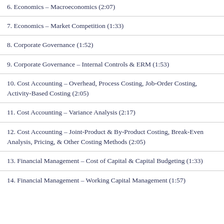6. Economics – Macroeconomics (2:07)
7. Economics – Market Competition (1:33)
8. Corporate Governance (1:52)
9. Corporate Governance – Internal Controls & ERM (1:53)
10. Cost Accounting – Overhead, Process Costing, Job-Order Costing, Activity-Based Costing (2:05)
11. Cost Accounting – Variance Analysis (2:17)
12. Cost Accounting – Joint-Product & By-Product Costing, Break-Even Analysis, Pricing, & Other Costing Methods (2:05)
13. Financial Management – Cost of Capital & Capital Budgeting (1:33)
14. Financial Management – Working Capital Management (1:57)